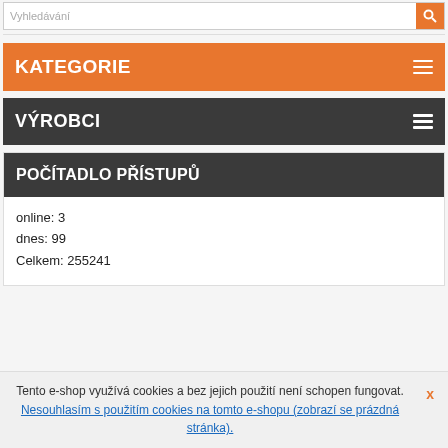Vyhledávání
KATEGORIE
VÝROBCI
POČÍTADLO PŘÍSTUPŮ
online: 3
dnes: 99
Celkem: 255241
Tento e-shop využívá cookies a bez jejich použití není schopen fungovat. Nesouhlasím s použitím cookies na tomto e-shopu (zobrazí se prázdná stránka).